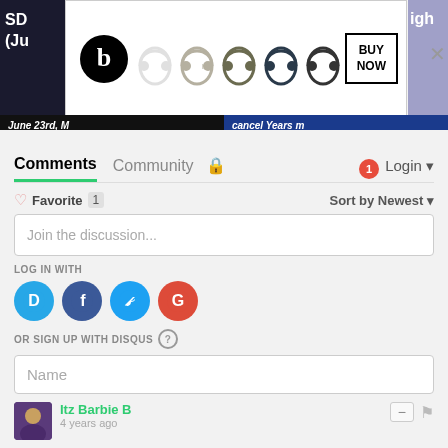[Figure (screenshot): Beats headphones advertisement banner with BUY NOW button, overlaid on partially visible web page content]
[Figure (screenshot): Two partially visible banner images at bottom of ad area]
Comments  Community  Login
Favorite 1  Sort by Newest
Join the discussion...
LOG IN WITH
[Figure (screenshot): Social login icons: Disqus (D), Facebook (F), Twitter bird, Google (G)]
OR SIGN UP WITH DISQUS ?
Name
Itz Barbie B
4 years ago